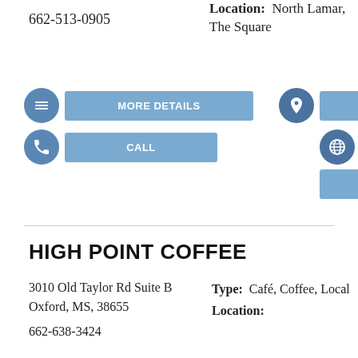662-513-0905
Location: North Lamar, The Square
[Figure (infographic): Buttons: MORE DETAILS, CALL (left column); MAP, WEBSITE (right column) with circular icons]
HIGH POINT COFFEE
3010 Old Taylor Rd Suite B
Oxford, MS, 38655
662-638-3424
Type: Café, Coffee, Local
Location:
[Figure (infographic): Buttons: MORE DETAILS (left), CALL (right), globe icon below left]